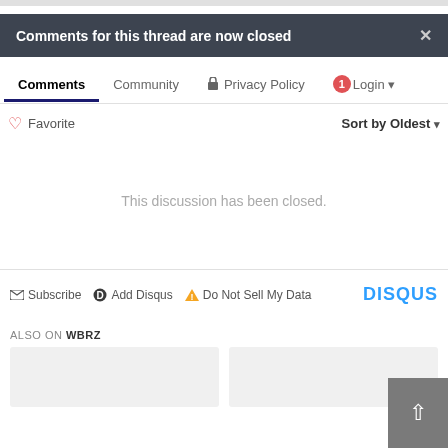Comments for this thread are now closed
Comments  Community  Privacy Policy  1  Login
Favorite  Sort by Oldest
This discussion has been closed.
Subscribe  Add Disqus  Do Not Sell My Data  DISQUS
ALSO ON WBRZ